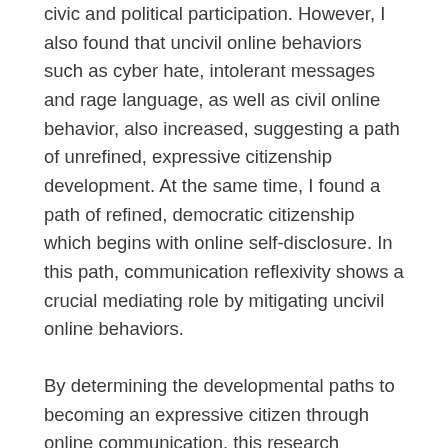civic and political participation. However, I also found that uncivil online behaviors such as cyber hate, intolerant messages and rage language, as well as civil online behavior, also increased, suggesting a path of unrefined, expressive citizenship development. At the same time, I found a path of refined, democratic citizenship which begins with online self-disclosure. In this path, communication reflexivity shows a crucial mediating role by mitigating uncivil online behaviors.
By determining the developmental paths to becoming an expressive citizen through online communication, this research suggests that both researchers and educators should pay close attention to the online spaces as a developmental environment. Moreover, by normatively evaluating young people's changed citizenship behaviors, I discuss challenges as well as opportunities for civic development in the online